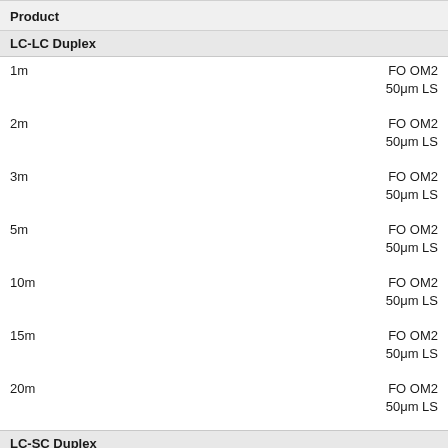| Product |  |
| --- | --- |
| LC-LC Duplex |  |
| 1m | FO OM2 |
|  | 50μm LS |
| 2m | FO OM2 |
|  | 50μm LS |
| 3m | FO OM2 |
|  | 50μm LS |
| 5m | FO OM2 |
|  | 50μm LS |
| 10m | FO OM2 |
|  | 50μm LS |
| 15m | FO OM2 |
|  | 50μm LS |
| 20m | FO OM2 |
|  | 50μm LS |
| LC-SC Duplex |  |
| 1m | FO OM2 |
|  | 50μm LS |
| 2m | FO OM2 |
|  | 50μm LS |
| 3m | FO OM2 |